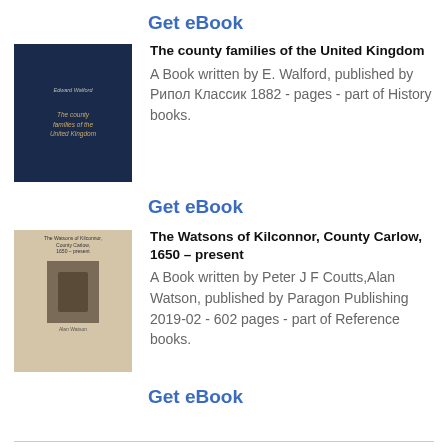Get eBook
The county families of the United Kingdom
A Book written by E. Walford, published by Рипол Классик 1882 - pages - part of History books.
[Figure (photo): Book cover of 'The county families of the United Kingdom' - dark navy blue cover with golden text]
Get eBook
The Watsons of Kilconnor, County Carlow, 1650 – present
A Book written by Peter J F Coutts,Alan Watson, published by Paragon Publishing 2019-02 - 602 pages - part of Reference books.
[Figure (photo): Book cover of 'The Watsons of Kilconnor, County Carlow, 1650 – present' - beige/tan cover with small figure image]
Get eBook